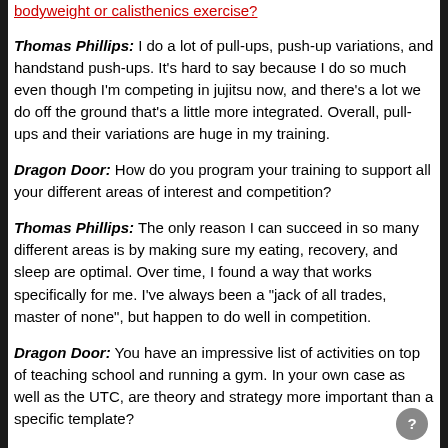bodyweight or calisthenics exercise?
Thomas Phillips: I do a lot of pull-ups, push-up variations, and handstand push-ups.  It's hard to say because I do so much even though I'm competing in jujitsu now, and there's a lot we do off the ground that's a little more integrated.  Overall, pull-ups and their variations are huge in my training.
Dragon Door: How do you program your training to support all your different areas of interest and competition?
Thomas Phillips: The only reason I can succeed in so many different areas is by making sure my eating, recovery, and sleep are optimal.  Over time, I found a way that works specifically for me.  I've always been a "jack of all trades, master of none", but happen to do well in competition.
Dragon Door: You have an impressive list of activities on top of teaching school and running a gym.  In your own case as well as the UTC, are theory and strategy more important than a specific template?